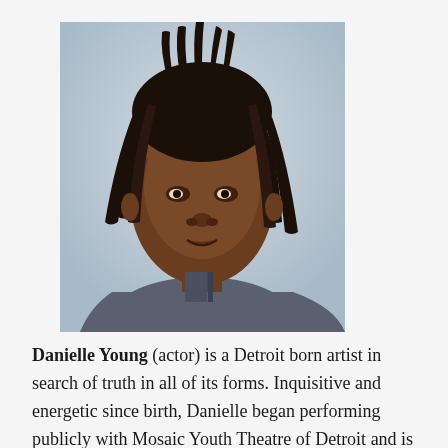[Figure (photo): Headshot photo of Danielle Young, a young Black woman with long locs, wearing a gray sleeveless top, against a light blue-gray background.]
Danielle Young (actor) is a Detroit born artist in search of truth in all of its forms. Inquisitive and energetic since birth, Danielle began performing publicly with Mosaic Youth Theatre of Detroit and is soon to graduate with a BA in theatre from Pomona College. Recent credits include: Rey in "Daphne's Dive"